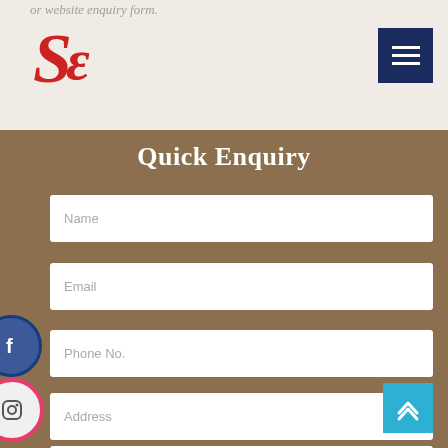or website enquiry form.
[Figure (logo): SE cursive red logo]
[Figure (other): Navy hamburger menu button with three white lines]
Quick Enquiry
Name
Email
Phone No.
Address
Message
[Figure (other): Facebook social icon - blue circle]
[Figure (other): Instagram social icon - pink/red circle]
[Figure (other): Back to top button - cyan square with chevrons]